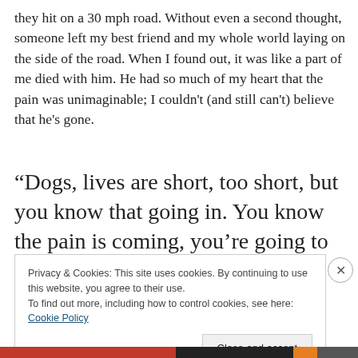they hit on a 30 mph road. Without even a second thought, someone left my best friend and my whole world laying on the side of the road. When I found out, it was like a part of me died with him. He had so much of my heart that the pain was unimaginable; I couldn't (and still can't) believe that he's gone.
“Dogs, lives are short, too short, but you know that going in. You know the pain is coming, you’re going to lose a dog, and
Privacy & Cookies: This site uses cookies. By continuing to use this website, you agree to their use.
To find out more, including how to control cookies, see here: Cookie Policy